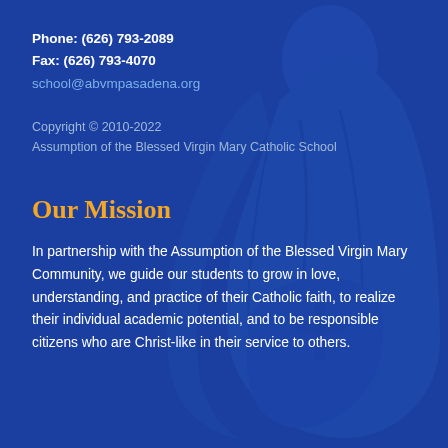Phone: (626) 793-2089
Fax: (626) 793-4070
school@abvmpasadena.org
Copyright © 2010-2022
Assumption of the Blessed Virgin Mary Catholic School
Our Mission
In partnership with the Assumption of the Blessed Virgin Mary Community, we guide our students to grow in love, understanding, and practice of their Catholic faith, to realize their individual academic potential, and to be responsible citizens who are Christ-like in their service to others.